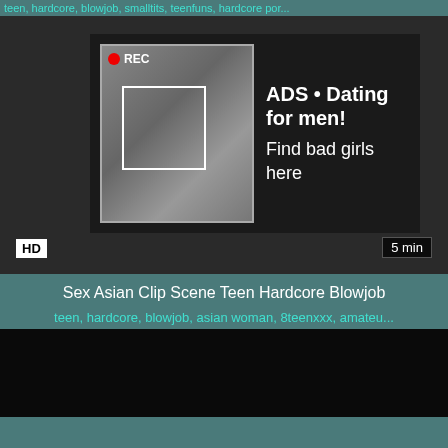teen, hardcore, blowjob, smalltits, teenfuns, hardcore, por...
[Figure (screenshot): Video player with ad overlay showing a woman taking a selfie, REC indicator, focus box, and dating ad text: ADS • Dating for men! Find bad girls here]
Sex Asian Clip Scene Teen Hardcore Blowjob
teen, hardcore, blowjob, asian woman, 8teenxxx, amateu...
[Figure (screenshot): Black video player thumbnail]